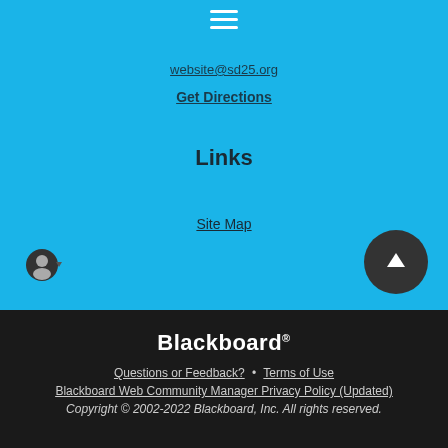[Figure (other): Hamburger menu icon (three white horizontal lines) centered at top]
website@sd25.org
Get Directions
Links
Site Map
[Figure (other): User/account circle icon with dropdown arrow, bottom left of blue section]
[Figure (other): Dark circular button with white upward arrow, bottom right of blue section]
Blackboard®
Questions or Feedback? · Terms of Use
Blackboard Web Community Manager Privacy Policy (Updated)
Copyright © 2002-2022 Blackboard, Inc. All rights reserved.